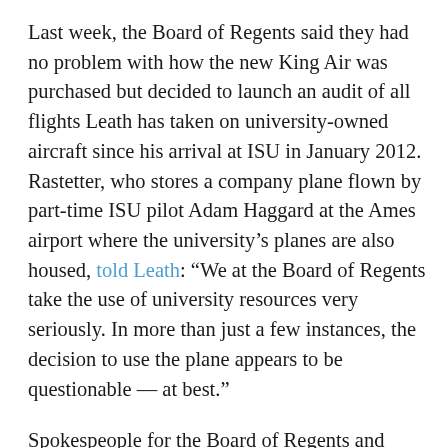Last week, the Board of Regents said they had no problem with how the new King Air was purchased but decided to launch an audit of all flights Leath has taken on university-owned aircraft since his arrival at ISU in January 2012. Rastetter, who stores a company plane flown by part-time ISU pilot Adam Haggard at the Ames airport where the university's planes are also housed, told Leath: “We at the Board of Regents take the use of university resources very seriously. In more than just a few instances, the decision to use the plane appears to be questionable — at best.”
Spokespeople for the Board of Regents and Branstad did not respond to requests for comment.